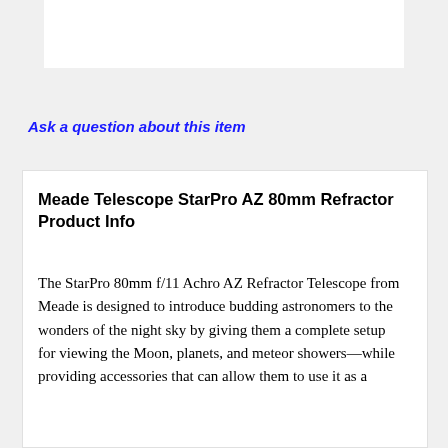[Figure (other): White rectangular image/banner area at the top of the page]
Ask a question about this item
Meade Telescope StarPro AZ 80mm Refractor Product Info
The StarPro 80mm f/11 Achro AZ Refractor Telescope from Meade is designed to introduce budding astronomers to the wonders of the night sky by giving them a complete setup for viewing the Moon, planets, and meteor showers—while providing accessories that can allow them to use it as a